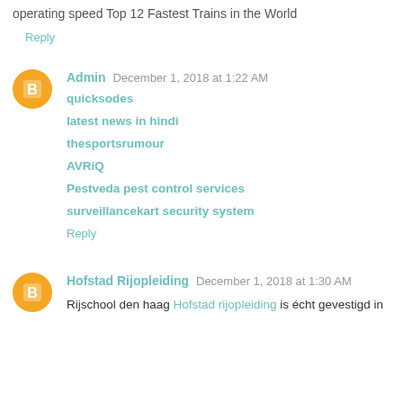operating speed Top 12 Fastest Trains in the World
Reply
Admin  December 1, 2018 at 1:22 AM
quicksodes
latest news in hindi
thesportsrumour
AVRiQ
Pestveda pest control services
surveillancekart security system
Reply
Hofstad Rijopleiding  December 1, 2018 at 1:30 AM
Rijschool den haag Hofstad rijopleiding is écht gevestigd in